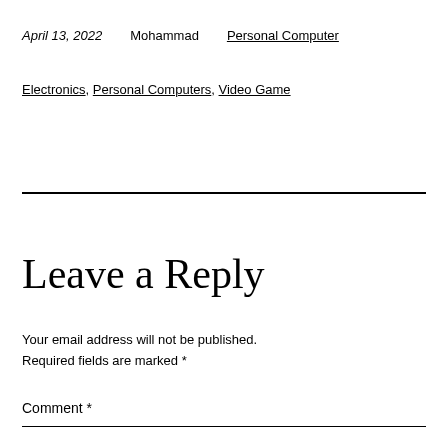April 13, 2022   Mohammad   Personal Computer
Electronics, Personal Computers, Video Game
Leave a Reply
Your email address will not be published. Required fields are marked *
Comment *